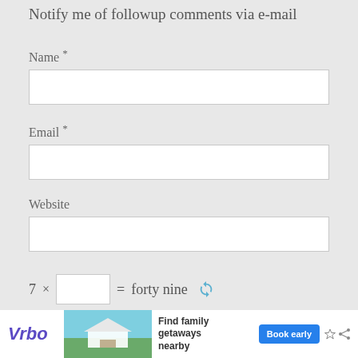Notify me of followup comments via e-mail
Name *
Email *
Website
7 × [input] = forty nine [refresh]
[Figure (screenshot): Vrbo advertisement banner: Find family getaways nearby, Book early button]